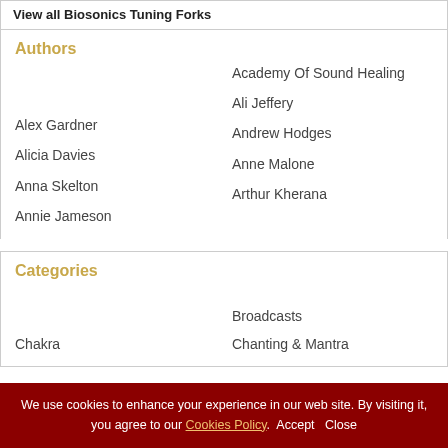View all Biosonics Tuning Forks
Authors
Academy Of Sound Healing
Alex Gardner
Ali Jeffery
Alicia Davies
Andrew Hodges
Anna Skelton
Anne Malone
Annie Jameson
Arthur Kherana
Categories
Broadcasts
Chakra
Chanting & Mantra
We use cookies to enhance your experience in our web site. By visiting it, you agree to our Cookies Policy. Accept Close